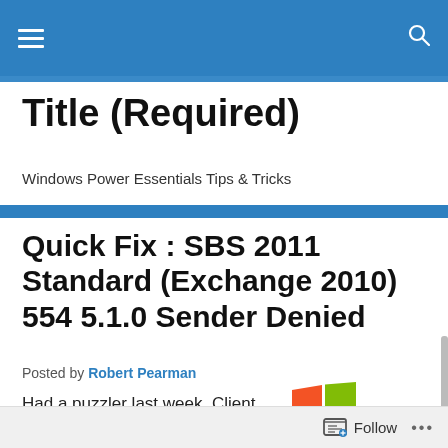Title (Required) — Windows Power Essentials Tips & Tricks
Title (Required)
Windows Power Essentials Tips & Tricks
Quick Fix : SBS 2011 Standard (Exchange 2010) 554 5.1.0 Sender Denied
Posted by Robert Pearman
Had a puzzler last week. Client called up
[Figure (logo): Windows Small Business Server logo (Windows flag icon in red, green, yellow, blue quadrants)]
Follow